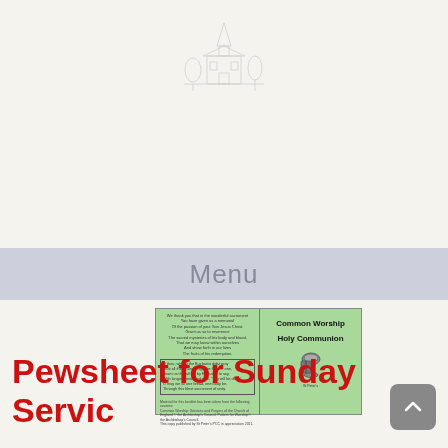[Figure (illustration): Faded background showing a church document page with a pencil sketch of a church building with a steeple]
Menu
[Figure (photo): Green-colored booklet cover and back page. Left side has a poem, boxed prayer text, and source information. Right side reads Common Worship Holy Communion with a small icon.]
Pewsheet for Sunday Service